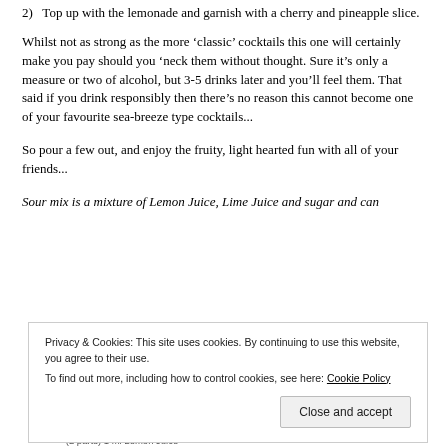2)   Top up with the lemonade and garnish with a cherry and pineapple slice.
Whilst not as strong as the more ‘classic’ cocktails this one will certainly make you pay should you ‘neck them without thought. Sure it’s only a measure or two of alcohol, but 3-5 drinks later and you’ll feel them. That said if you drink responsibly then there’s no reason this cannot become one of your favourite sea-breeze type cocktails...
So pour a few out, and enjoy the fruity, light hearted fun with all of your friends...
Sour mix is a mixture of Lemon Juice, Lime Juice and sugar and can b
Privacy & Cookies: This site uses cookies. By continuing to use this website, you agree to their use.
To find out more, including how to control cookies, see here: Cookie Policy
Close and accept
(2 parts) 1 ml Lemon Juice